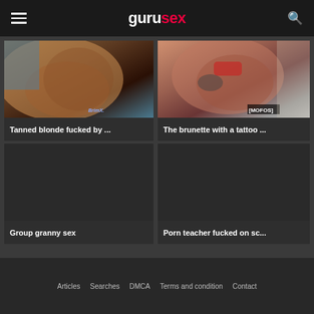gurusex
[Figure (photo): Tanned body close-up photo thumbnail]
Tanned blonde fucked by ...
[Figure (photo): Brunette with tattoo photo thumbnail with MOFOS watermark]
The brunette with a tattoo ...
[Figure (photo): Group granny sex - dark placeholder thumbnail]
Group granny sex
[Figure (photo): Porn teacher fucked on sc... - dark placeholder thumbnail]
Porn teacher fucked on sc...
Articles   Searches   DMCA   Terms and condition   Contact